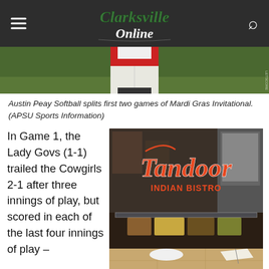Clarksville Online
[Figure (photo): Photo of Austin Peay softball player in red and white uniform on a green field, cropped to show uniform torso area]
Austin Peay Softball splits first two games of Mardi Gras Invitational. (APSU Sports Information)
In Game 1, the Lady Govs (1-1) trailed the Cowgirls 2-1 after three innings of play, but scored in each of the last four innings of play –
[Figure (photo): Advertisement for Tandoor Indian Bistro showing a buffet spread. Text reads: Buffet Every Sunday 11:00am - 2:00pm]